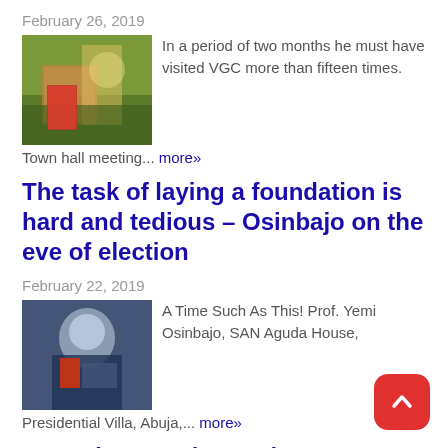February 26, 2019
In a period of two months he must have visited VGC more than fifteen times. Town hall meeting... more»
The task of laying a foundation is hard and tedious – Osinbajo on the eve of election
February 22, 2019
A Time Such As This! Prof. Yemi Osinbajo, SAN Aguda House, Presidential Villa, Abuja,... more»
Come let's work together